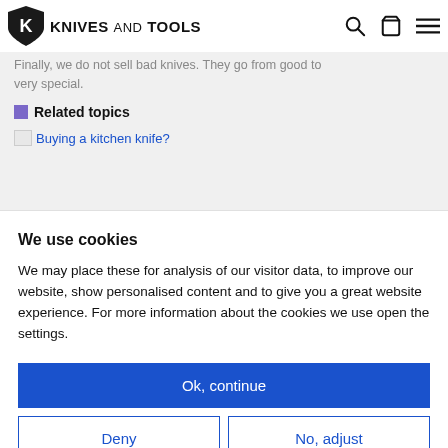KNIVES AND TOOLS
Finally, we do not sell bad knives. They go from good to very special.
Related topics
Buying a kitchen knife?
We use cookies
We may place these for analysis of our visitor data, to improve our website, show personalised content and to give you a great website experience. For more information about the cookies we use open the settings.
Ok, continue
Deny
No, adjust